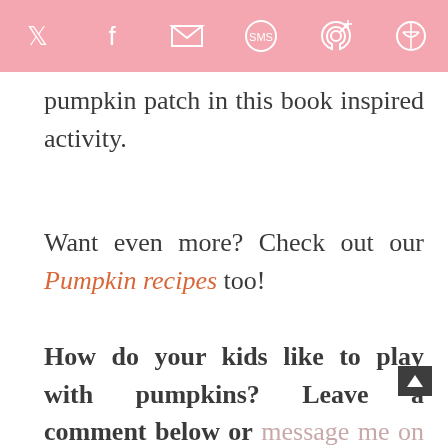[Social share icons: Twitter, Facebook, Email, SMS, Pinterest, More]
pumpkin patch in this book inspired activity.
Want even more? Check out our Pumpkin recipes too!
How do your kids like to play with pumpkins? Leave a comment below or message me on Facebook and let me